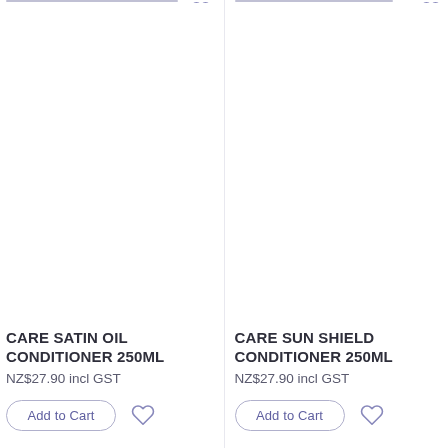[Figure (photo): Product image area for Care Satin Oil Conditioner 250ml (white/blank area)]
[Figure (photo): Product image area for Care Sun Shield Conditioner 250ml (white/blank area)]
CARE SATIN OIL CONDITIONER 250ML
NZ$27.90 incl GST
CARE SUN SHIELD CONDITIONER 250ML
NZ$27.90 incl GST